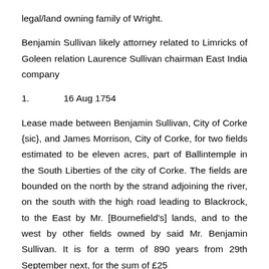legal/land owning family of Wright.
Benjamin Sullivan likely attorney related to Limricks of Goleen relation Laurence Sullivan chairman East India company
1.      16 Aug 1754
Lease made between Benjamin Sullivan, City of Corke {sic}, and James Morrison, City of Corke, for two fields estimated to be eleven acres, part of Ballintemple in the South Liberties of the city of Corke. The fields are bounded on the north by the strand adjoining the river, on the south with the high road leading to Blackrock, to the East by Mr. [Bournefield's] lands, and to the west by other fields owned by said Mr. Benjamin Sullivan. It is for a term of 890 years from 29th September next, for the sum of £25